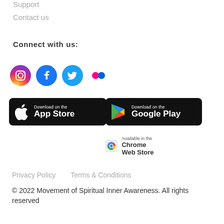Support
Contact us
Connect with us:
[Figure (illustration): Social media icons: Instagram, Facebook, Twitter, Flickr]
[Figure (illustration): App store download badges: Download on the App Store, Download on the Google Play, Available in the Chrome Web Store]
Privacy Policy    Terms & Conditions
© 2022 Movement of Spiritual Inner Awareness. All rights reserved